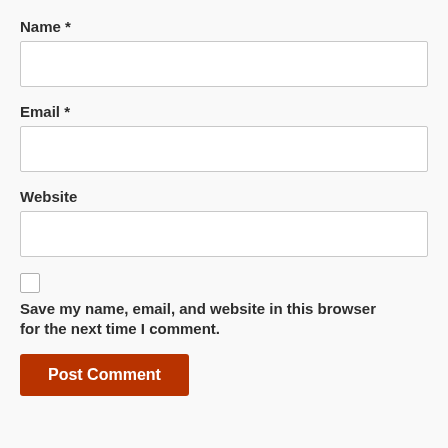Name *
[Figure (other): Text input field for Name]
Email *
[Figure (other): Text input field for Email]
Website
[Figure (other): Text input field for Website]
Save my name, email, and website in this browser for the next time I comment.
[Figure (other): Post Comment button]